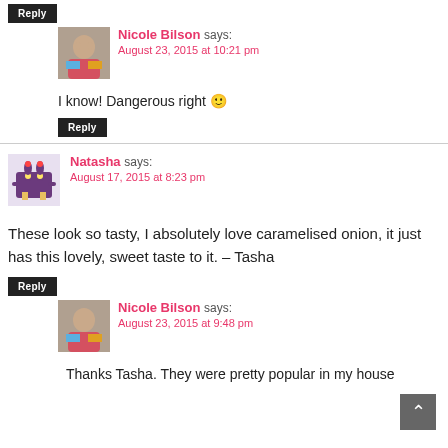Reply
[Figure (photo): Avatar photo of Nicole Bilson - woman with dark hair]
Nicole Bilson says:
August 23, 2015 at 10:21 pm
I know! Dangerous right 🙂
Reply
[Figure (illustration): Cartoon monster avatar for Natasha]
Natasha says:
August 17, 2015 at 8:23 pm
These look so tasty, I absolutely love caramelised onion, it just has this lovely, sweet taste to it. – Tasha
Reply
[Figure (photo): Avatar photo of Nicole Bilson - woman with dark hair]
Nicole Bilson says:
August 23, 2015 at 9:48 pm
Thanks Tasha. They were pretty popular in my house